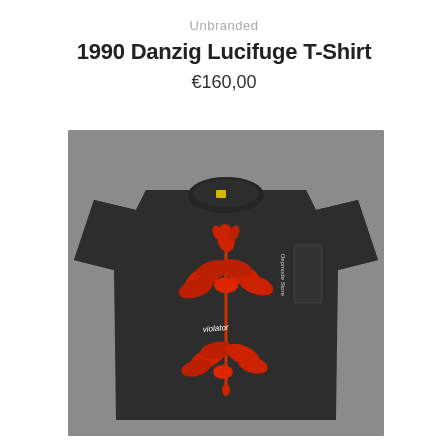Unbranded
1990 Danzig Lucifuge T-Shirt
€160,00
[Figure (photo): A black t-shirt laid flat on a gray background. The shirt features a red flower/plant graphic (resembling the Depeche Mode Violator rose) printed on the front center, with a small yellow tag at the collar and a dark rectangular hangtag on the right side.]